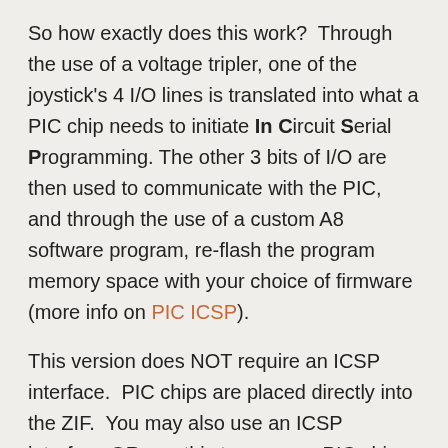So how exactly does this work?  Through the use of a voltage tripler, one of the joystick's 4 I/O lines is translated into what a PIC chip needs to initiate In Circuit Serial Programming. The other 3 bits of I/O are then used to communicate with the PIC, and through the use of a custom A8 software program, re-flash the program memory space with your choice of firmware (more info on PIC ICSP).
This version does NOT require an ICSP interface.  PIC chips are placed directly into the ZIF.  You may also use an ICSP interface OR use this to program PIC chips that are soldered into place and have an ICSP interface.
Comes in two formats:
Assembled & tested:  Start burning as soo as you get it!